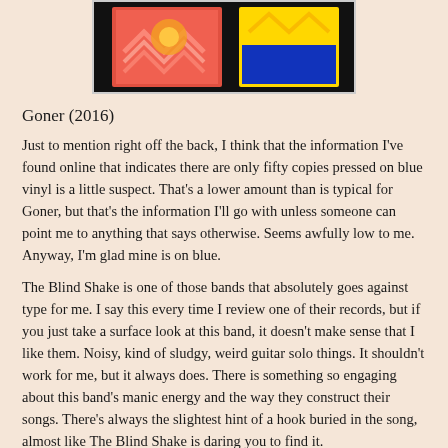[Figure (photo): Photograph of vinyl record sleeves with colorful artwork including pink, orange, and yellow/blue designs on a dark background]
Goner (2016)
Just to mention right off the back, I think that the information I've found online that indicates there are only fifty copies pressed on blue vinyl is a little suspect.  That's a lower amount than is typical for Goner, but that's the information I'll go with unless someone can point me to anything that says otherwise.  Seems awfully low to me.  Anyway, I'm glad mine is on blue.
The Blind Shake is one of those bands that absolutely goes against type for me.  I say this every time I review one of their records, but if you just take a surface look at this band, it doesn't make sense that I like them.  Noisy, kind of sludgy, weird guitar solo things.  It shouldn't work for me, but it always does.  There is something so engaging about this band's manic energy and the way they construct their songs.  There's always the slightest hint of a hook buried in the song, almost like The Blind Shake is daring you to find it.